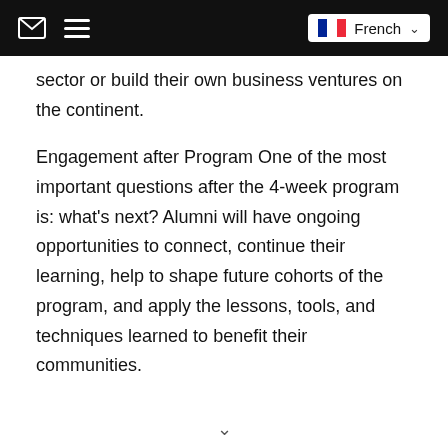French
sector or build their own business ventures on the continent.
Engagement after Program One of the most important questions after the 4-week program is: what's next? Alumni will have ongoing opportunities to connect, continue their learning, help to shape future cohorts of the program, and apply the lessons, tools, and techniques learned to benefit their communities.